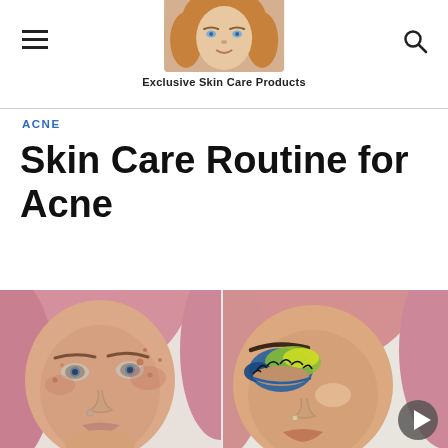Exclusive Skin Care Products
ACNE
Skin Care Routine for Acne
[Figure (photo): Before and after comparison photos of a woman with pink hair — left side shows natural skin with acne blemishes, right side shows the same person with dramatic colorful eye makeup including blue, green and yellow eyeshadow.]